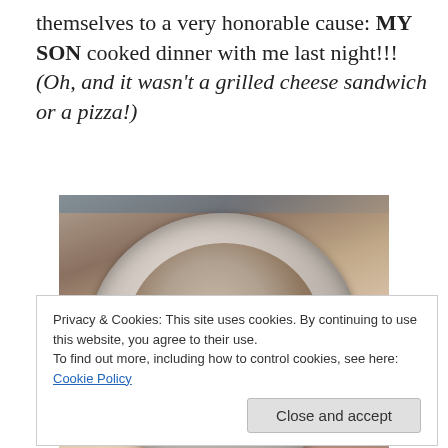themselves to a very honorable cause: MY SON cooked dinner with me last night!!! (Oh, and it wasn't a grilled cheese sandwich or a pizza!)
[Figure (photo): A white bowl filled with raw shrimp, photographed from above on a dark surface]
Privacy & Cookies: This site uses cookies. By continuing to use this website, you agree to their use.
To find out more, including how to control cookies, see here: Cookie Policy
Close and accept